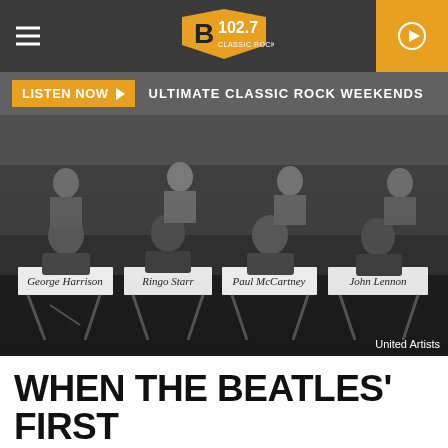B 102.7
LISTEN NOW ► ULTIMATE CLASSIC ROCK WEEKENDS
[Figure (photo): Black and white photo of The Beatles (George Harrison, Ringo Starr, Paul McCartney, John Lennon) seated in director's chairs with their names on the chairs, women standing behind them. Photo credit: United Artists.]
United Artists
WHEN THE BEATLES' FIRST MOVIE, 'A HARD DAY'S NIGHT,'